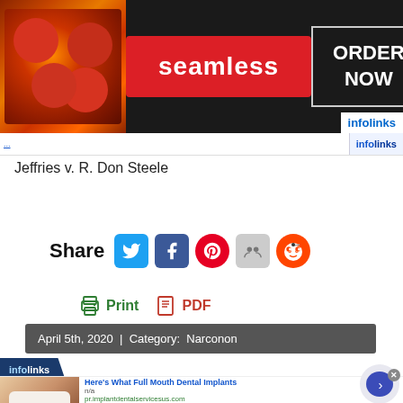[Figure (photo): Seamless food delivery advertisement banner with pizza imagery, red Seamless logo button, and ORDER NOW box on dark background]
Jeffries v. R. Don Steele
Share [Twitter] [Facebook] [Pinterest] [Share] [Reddit]
Print  PDF
April 5th, 2020 | Category: Narconon
[Figure (infographic): Infolinks advertisement: Here's What Full Mouth Dental Implants - n/a - pr.implantdentalservicesus.com with dental photo and navigation arrow]